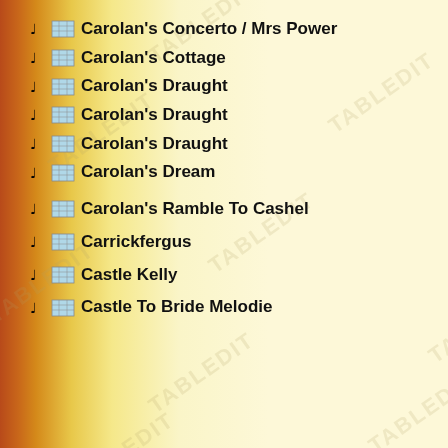Carolan's Concerto / Mrs Power
Carolan's Cottage
Carolan's Draught
Carolan's Draught
Carolan's Draught
Carolan's Dream
Carolan's Ramble To Cashel
Carrickfergus
Castle Kelly
Castle To Bride Melodie